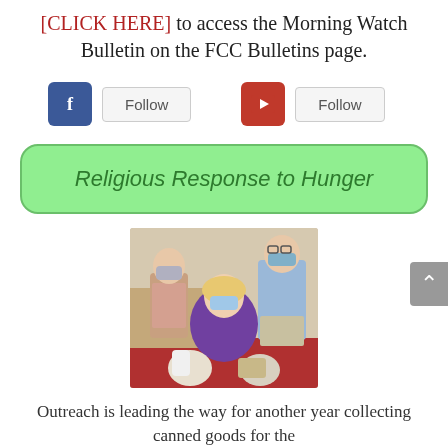[CLICK HERE] to access the Morning Watch Bulletin on the FCC Bulletins page.
[Figure (infographic): Facebook 'Follow' button and YouTube 'Follow' button side by side]
Religious Response to Hunger
[Figure (photo): Three people wearing face masks standing with bags of canned goods in what appears to be a church hall. Two men standing in background, one woman seated in foreground wearing purple shirt.]
Outreach is leading the way for another year collecting canned goods for the